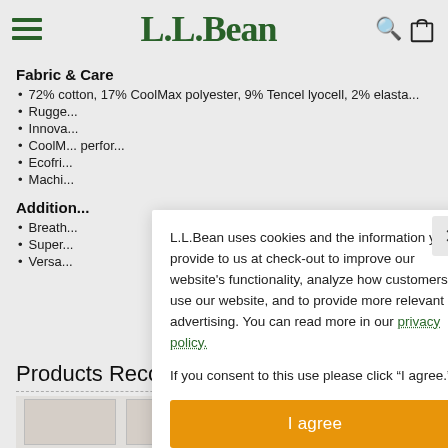[Figure (logo): L.L.Bean website header with hamburger menu, L.L.Bean serif logo in dark green, search icon, and bag icon]
Fabric & Care
72% cotton, 17% CoolMax polyester, 9% Tencel lyocell, 2% elasta...
Rugged...
Innova...
CoolM... perfor...
Ecofri...
Machi...
Addition...
Breath...
Super...
Versa...
[Figure (screenshot): Cookie consent modal overlay: L.L.Bean uses cookies and the information you provide to us at check-out to improve our website's functionality, analyze how customers use our website, and to provide more relevant advertising. You can read more in our privacy policy. If you consent to this use please click 'I agree.' with an orange I agree button and an X close button.]
Products Recommended for You
[Figure (photo): Product image placeholder area at bottom of page]